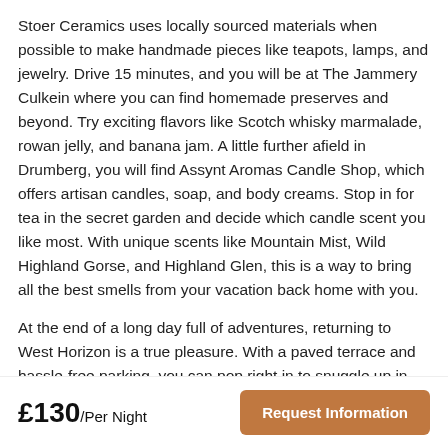Stoer Ceramics uses locally sourced materials when possible to make handmade pieces like teapots, lamps, and jewelry. Drive 15 minutes, and you will be at The Jammery Culkein where you can find homemade preserves and beyond. Try exciting flavors like Scotch whisky marmalade, rowan jelly, and banana jam. A little further afield in Drumberg, you will find Assynt Aromas Candle Shop, which offers artisan candles, soap, and body creams. Stop in for tea in the secret garden and decide which candle scent you like most. With unique scents like Mountain Mist, Wild Highland Gorse, and Highland Glen, this is a way to bring all the best smells from your vacation back home with you.
At the end of a long day full of adventures, returning to West Horizon is a true pleasure. With a paved terrace and hassle-free parking, you can pop right in to snuggle up in front of one of the two wood-effect gas fireplaces. With walks in all directions, even those with rambling in their souls can be satisfied. A stay at West
£130/Per Night   Request Information